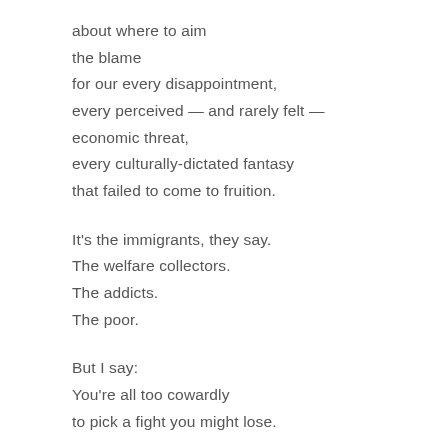about where to aim
the blame
for our every disappointment,
every perceived — and rarely felt —
economic threat,
every culturally-dictated fantasy
that failed to come to fruition.

It's the immigrants, they say.
The welfare collectors.
The addicts.
The poor.

But I say:
You're all too cowardly
to pick a fight you might lose.